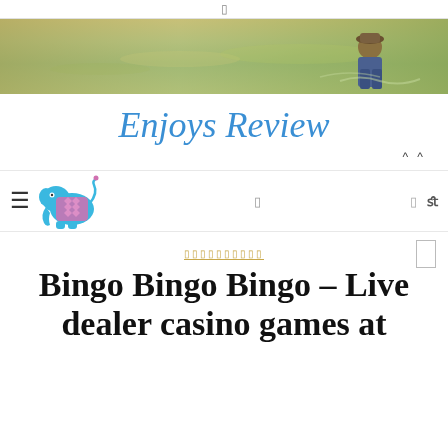☰
[Figure (photo): Outdoor banner photo showing water and a person in the background]
Enjoys Review
^ ^
[Figure (logo): Blue elephant logo with pink decorative pattern]
Bingo Bingo Bingo – Live dealer casino games at